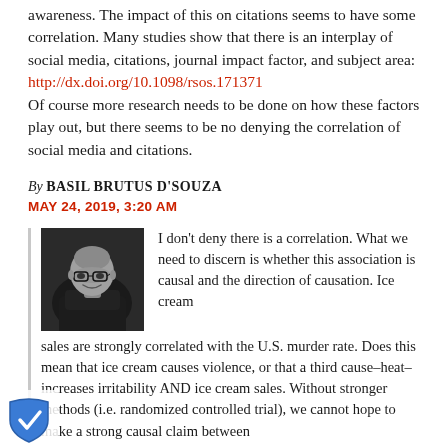awareness. The impact of this on citations seems to have some correlation. Many studies show that there is an interplay of social media, citations, journal impact factor, and subject area: http://dx.doi.org/10.1098/rsos.171371 Of course more research needs to be done on how these factors play out, but there seems to be no denying the correlation of social media and citations.
By BASIL BRUTUS D'SOUZA
MAY 24, 2019, 3:20 AM
I don't deny there is a correlation. What we need to discern is whether this association is causal and the direction of causation. Ice cream sales are strongly correlated with the U.S. murder rate. Does this mean that ice cream causes violence, or that a third cause–heat–increases irritability AND ice cream sales. Without stronger methods (i.e. randomized controlled trial), we cannot hope to make a strong causal claim between
[Figure (photo): Black and white portrait photo of a bald man with glasses, smiling, wearing a dark jacket]